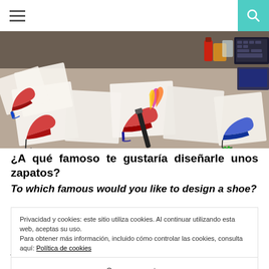☰  🔍
[Figure (photo): Overhead photo of colorful hand-drawn shoe design sketches spread across a desk, with art supplies like markers and bottles visible in the background.]
¿A qué famoso te gustaría diseñarle unos zapatos?
To which famous would you like to design a shoe?
Privacidad y cookies: este sitio utiliza cookies. Al continuar utilizando esta web, aceptas su uso.
Para obtener más información, incluido cómo controlar las cookies, consulta aquí: Política de cookies
Cerrar y aceptar
About women I like those that have personality and